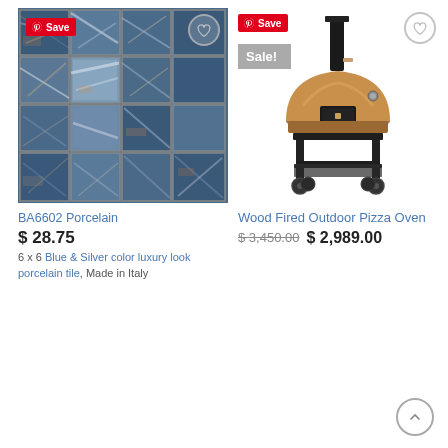[Figure (photo): BA6602 porcelain tile product image showing a 4x4 grid of blue and silver colored tiles with textured surface]
BA6602 Porcelain
$ 28.75
6 x 6 Blue & Silver color luxury look porcelain tile, Made in Italy
[Figure (photo): Wood fired outdoor pizza oven with copper/bronze dome body on a black metal stand with wheels, and a tall black chimney pipe]
Wood Fired Outdoor Pizza Oven
$ 3,450.00  $ 2,989.00